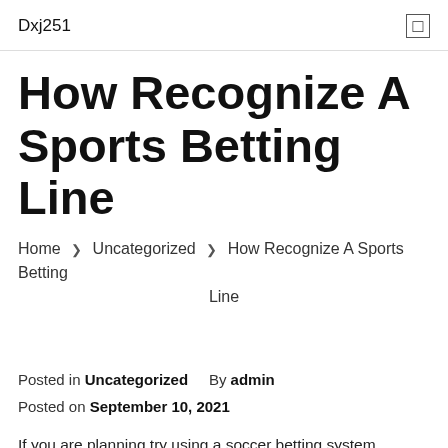Dxj251
How Recognize A Sports Betting Line
Home › Uncategorized › How Recognize A Sports Betting Line
Posted in Uncategorized    By admin
Posted on September 10, 2021
If you are planning try using a soccer betting system, whether